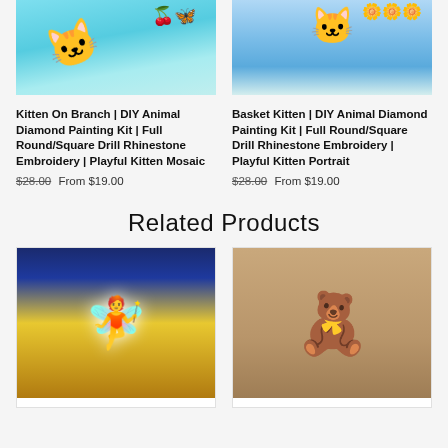[Figure (photo): Kitten on branch product image - cat in cyan sky with butterfly and cherries]
[Figure (photo): Basket kitten product image - cat with daisies and water/waves]
Kitten On Branch | DIY Animal Diamond Painting Kit | Full Round/Square Drill Rhinestone Embroidery | Playful Kitten Mosaic
$28.00 From $19.00
Basket Kitten | DIY Animal Diamond Painting Kit | Full Round/Square Drill Rhinestone Embroidery | Playful Kitten Portrait
$28.00 From $19.00
Related Products
[Figure (photo): Stained glass style fairy illustration in blue and gold]
[Figure (photo): Grey teddy bear plush toy on beige background]